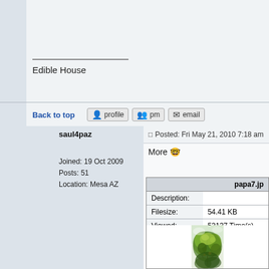Edible House
Back to top
saul4paz
Joined: 19 Oct 2009
Posts: 51
Location: Mesa AZ
Posted: Fri May 21, 2010 7:18 am    Post subje...
More 😐
| papa7.jp... |
| --- |
| Description: |  |
| Filesize: | 54.41 KB |
| Viewed: | 52137 Time(s) |